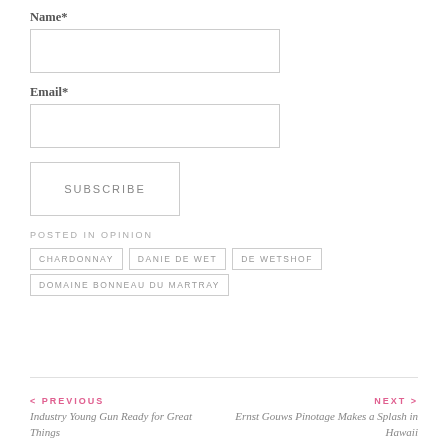Name*
Email*
SUBSCRIBE
POSTED IN OPINION
CHARDONNAY
DANIE DE WET
DE WETSHOF
DOMAINE BONNEAU DU MARTRAY
< PREVIOUS
Industry Young Gun Ready for Great Things
NEXT >
Ernst Gouws Pinotage Makes a Splash in Hawaii